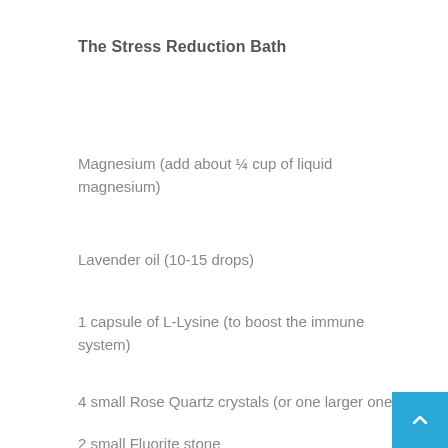The Stress Reduction Bath
Magnesium (add about ¼ cup of liquid magnesium)
Lavender oil (10-15 drops)
1 capsule of L-Lysine (to boost the immune system)
4 small Rose Quartz crystals (or one larger one)
2 small Fluorite stone